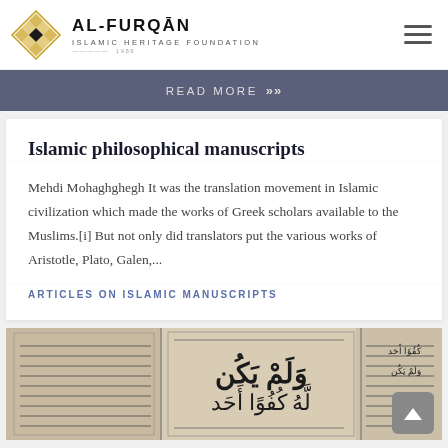AL-FURQĀN ISLAMIC HERITAGE FOUNDATION
READ MORE >>
Islamic philosophical manuscripts
Mehdi Mohaghghegh It was the translation movement in Islamic civilization which made the works of Greek scholars available to the Muslims.[i] But not only did translators put the various works of Aristotle, Plato, Galen,...
ARTICLES ON ISLAMIC MANUSCRIPTS
[Figure (photo): Photograph of an Islamic manuscript page with Arabic calligraphy text, including large decorative script and bordered columns of smaller text.]